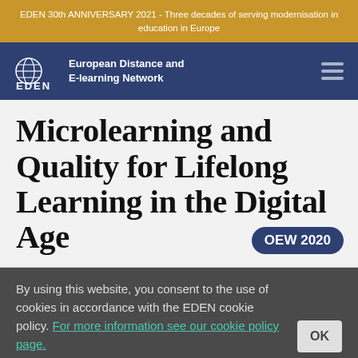EDEN 30th ANNIVERSARY 2021 - Three decades of serving modernisation in education in Europe
[Figure (logo): EDEN European Distance and E-learning Network logo with globe icon and hamburger menu icon]
Microlearning and Quality for Lifelong Learning in the Digital Age
OEW 2020
By using this website, you consent to the use of cookies in accordance with the EDEN cookie policy. For more information see our cookie policy page.